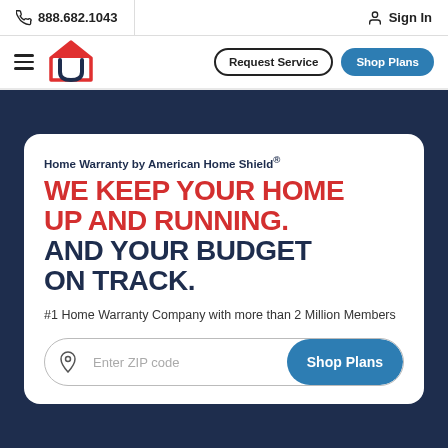888.682.1043  Sign In
[Figure (logo): American Home Shield logo — red house icon with blue U-shaped shield, hamburger menu icon on left]
Request Service  Shop Plans
Home Warranty by American Home Shield®
WE KEEP YOUR HOME UP AND RUNNING. AND YOUR BUDGET ON TRACK.
#1 Home Warranty Company with more than 2 Million Members
Enter ZIP code  Shop Plans